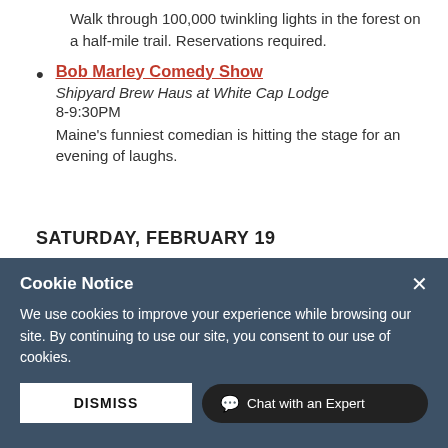Walk through 100,000 twinkling lights in the forest on a half-mile trail. Reservations required.
Bob Marley Comedy Show
Shipyard Brew Haus at White Cap Lodge
8-9:30PM
Maine's funniest comedian is hitting the stage for an evening of laughs.
SATURDAY, FEBRUARY 19
Cookie Notice
We use cookies to improve your experience while browsing our site. By continuing to use our site, you consent to our use of cookies.
DISMISS
Chat with an Expert